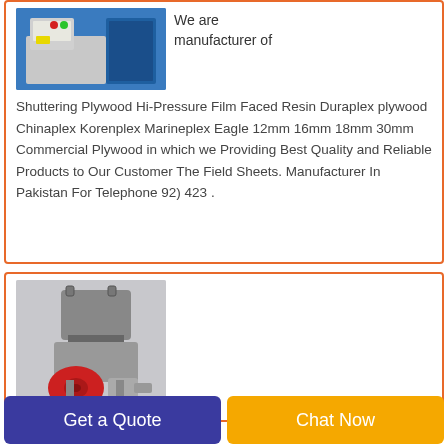[Figure (photo): Photo of a plywood manufacturing / film-facing machine with blue casing and control panel with red and green buttons]
We are manufacturer of Shuttering Plywood Hi-Pressure Film Faced Resin Duraplex plywood Chinaplex Korenplex Marineplex Eagle 12mm 16mm 18mm 30mm Commercial Plywood in which we Providing Best Quality and Reliable Products to Our Customer The Field Sheets. Manufacturer In Pakistan For Telephone 92) 423 .
[Figure (photo): 3D rendering of a grey and red industrial plastic shredder machine]
Get a Quote
Chat Now